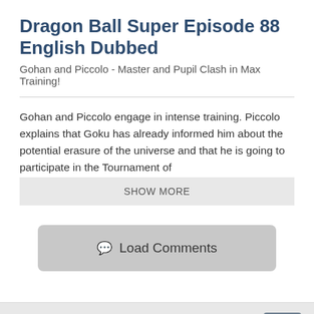Dragon Ball Super Episode 88 English Dubbed
Gohan and Piccolo - Master and Pupil Clash in Max Training!
Gohan and Piccolo engage in intense training. Piccolo explains that Goku has already informed him about the potential erasure of the universe and that he is going to participate in the Tournament of
SHOW MORE
Load Comments
NEXT DBS DUBBED EPISODE
-